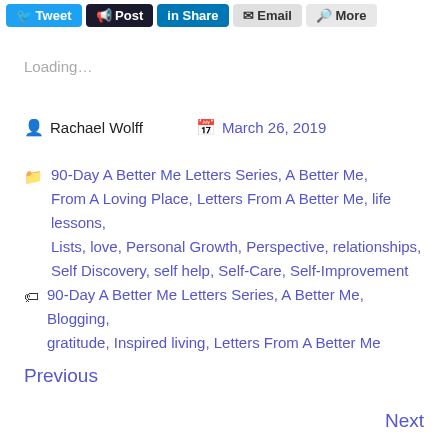[Figure (screenshot): Social share buttons: Tweet, Post, Share (LinkedIn), Email, More]
Loading...
Rachael Wolff   March 26, 2019
90-Day A Better Me Letters Series, A Better Me, From A Loving Place, Letters From A Better Me, life lessons, Lists, love, Personal Growth, Perspective, relationships, Self Discovery, self help, Self-Care, Self-Improvement
90-Day A Better Me Letters Series, A Better Me, Blogging, gratitude, Inspired living, Letters From A Better Me
Previous
Next